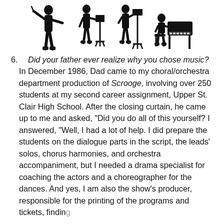[Figure (illustration): Four black silhouette illustrations of musicians: a conductor, a person at a music stand, a person at a tall music stand, and a person seated at a piano/keyboard instrument]
Did your father ever realize why you chose music? In December 1986, Dad came to my choral/orchestra department production of Scrooge, involving over 250 students at my second career assignment, Upper St. Clair High School. After the closing curtain, he came up to me and asked, “Did you do all of this yourself? I answered, “Well, I had a lot of help. I did prepare the students on the dialogue parts in the script, the leads’ solos, chorus harmonies, and orchestra accompaniment, but I needed a drama specialist for coaching the actors and a choreographer for the dances. And yes, I am also the show’s producer, responsible for the printing of the programs and tickets, finding...